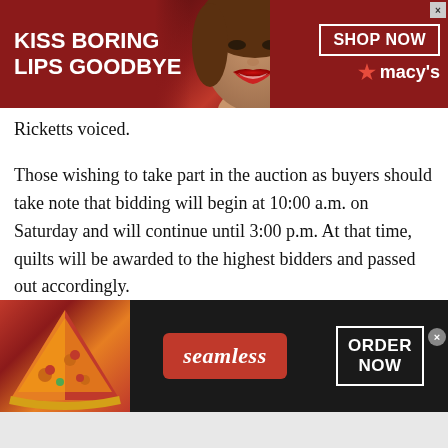[Figure (screenshot): Macy's advertisement banner: red background with white text 'KISS BORING LIPS GOODBYE', model with red lips, 'SHOP NOW' button, macy's star logo]
Ricketts voiced.
Those wishing to take part in the auction as buyers should take note that bidding will begin at 10:00 a.m. on Saturday and will continue until 3:00 p.m. At that time, quilts will be awarded to the highest bidders and passed out accordingly.
Be sure to join in on the fun at 2:00 p.m., as organizers will be holding their special Mother’s Day Program and will introduce this year’s Anna
[Figure (screenshot): Seamless food delivery advertisement: dark background, pizza image on left, red 'seamless' button in center, 'ORDER NOW' button on right]